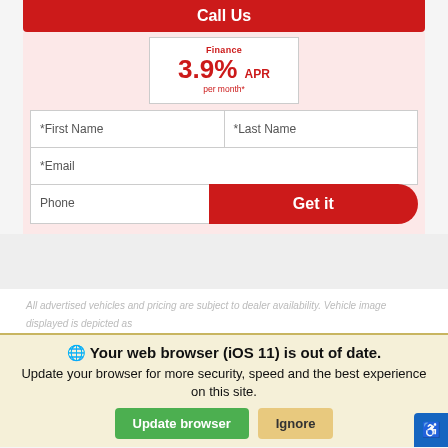Call Us
Finance 3.9% APR per month*
*First Name
*Last Name
*Email
Phone
Get it
All advertised vehicles and pricing are subject to dealer availability. Vehicle image displayed is depicted as
Your web browser (iOS 11) is out of date. Update your browser for more security, speed and the best experience on this site.
Update browser
Ignore